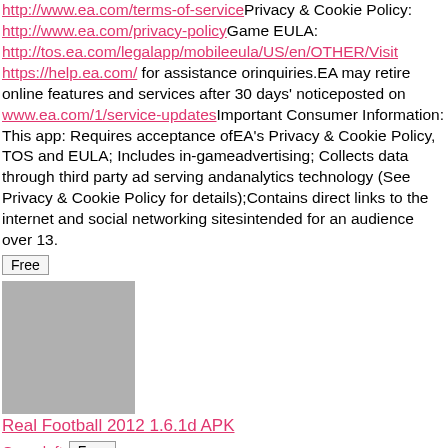FIFA 13 Ultimate Team.NOTES:Terms of Service: http://www.ea.com/terms-of-servicePrivacy & Cookie Policy: http://www.ea.com/privacy-policyGame EULA: http://tos.ea.com/legalapp/mobileeula/US/en/OTHER/Visit https://help.ea.com/ for assistance orinquiries.EA may retire online features and services after 30 days' noticeposted on www.ea.com/1/service-updatesImportant Consumer Information: This app: Requires acceptance ofEA's Privacy & Cookie Policy, TOS and EULA; Includes in-gameadvertising; Collects data through third party ad serving andanalytics technology (See Privacy & Cookie Policy for details);Contains direct links to the internet and social networking sitesintended for an audience over 13.
Free
[Figure (photo): App icon placeholder for Real Football 2012 - gray rectangle]
Real Football 2012 1.6.1d APK
Gameloft  Free
Real Football is back for the new season,bringing football on mobile to a new era! Join the community offers as you create and share content...